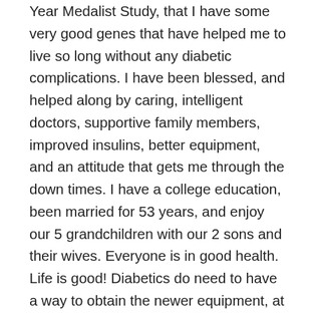Year Medalist Study, that I have some very good genes that have helped me to live so long without any diabetic complications. I have been blessed, and helped along by caring, intelligent doctors, supportive family members, improved insulins, better equipment, and an attitude that gets me through the down times. I have a college education, been married for 53 years, and enjoy our 5 grandchildren with our 2 sons and their wives. Everyone is in good health. Life is good! Diabetics do need to have a way to obtain the newer equipment, at a reasonable price, with coverage from health insurance companies and Medicare. I am 76 years old, have an HMO insurance co. and Medicare said OK to a new insulin pump, but refused coverage for a pump with a sensor system, even though I do not feel